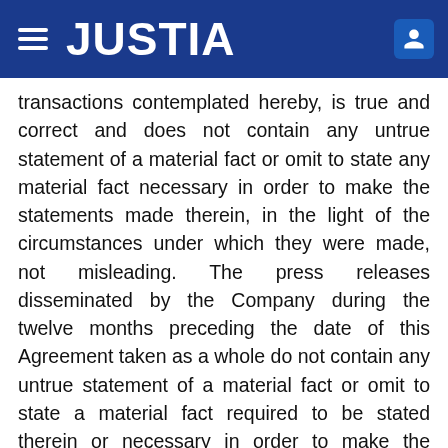JUSTIA
transactions contemplated hereby, is true and correct and does not contain any untrue statement of a material fact or omit to state any material fact necessary in order to make the statements made therein, in the light of the circumstances under which they were made, not misleading. The press releases disseminated by the Company during the twelve months preceding the date of this Agreement taken as a whole do not contain any untrue statement of a material fact or omit to state a material fact required to be stated therein or necessary in order to make the statements therein, in the light of the circumstances under which they were made and when made, not misleading. The Company acknowledges and agrees that no Purchaser makes or has made any representations or